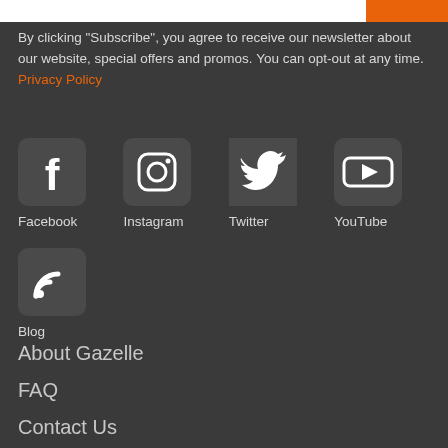By clicking "Subscribe", you agree to receive our newsletter about our website, special offers and promos. You can opt-out at any time. Privacy Policy
[Figure (logo): Facebook icon - white F on dark rounded square]
Facebook
[Figure (logo): Instagram icon - white camera outline on dark rounded square]
Instagram
[Figure (logo): Twitter icon - white bird on dark background]
Twitter
[Figure (logo): YouTube icon - white play button on dark rounded rectangle]
YouTube
[Figure (logo): Blog/RSS icon - white RSS feed symbol on dark rounded square]
Blog
About Gazelle
FAQ
Contact Us
Shipping & Returns